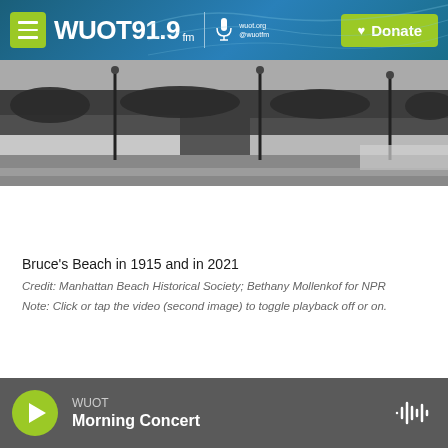WUOT 91.9 FM | wuot.org @wuotfm | Donate
[Figure (photo): Black and white historical photograph of Bruce's Beach in 1915 showing a crowded beach scene with lamp posts and a road]
Bruce's Beach in 1915 and in 2021
Credit: Manhattan Beach Historical Society; Bethany Mollenkof for NPR
Note: Click or tap the video (second image) to toggle playback off or on.
WUOT Morning Concert